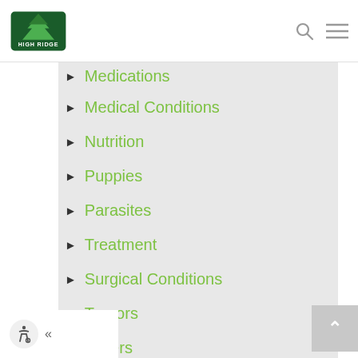High Ridge [logo] | search | menu
Medications
Medical Conditions
Nutrition
Puppies
Parasites
Treatment
Surgical Conditions
Tumors
Others
Zoonosis & Human Health
Pet Services